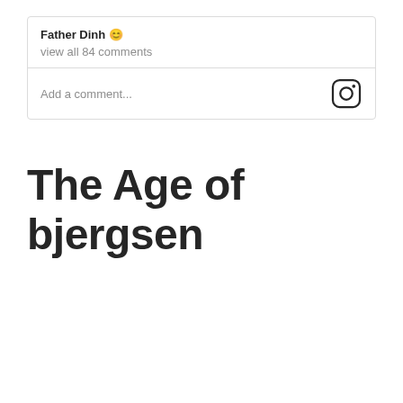Father Dinh 😊
view all 84 comments
Add a comment...
The Age of bjergsen